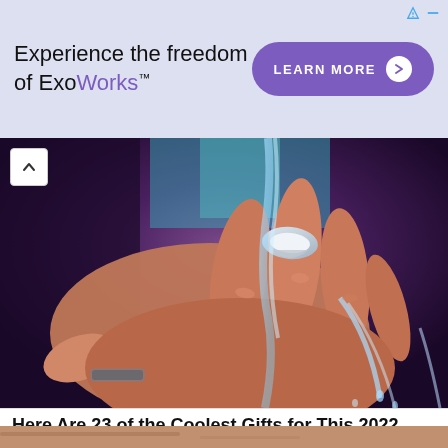[Figure (screenshot): Top advertisement banner for ExoWorks with purple background, showing 'Experience the freedom of ExoWorks™' text and a 'LEARN MORE' button]
[Figure (photo): Close-up photo of a hand under running water, showing fingers with water flowing over them, purple/dark background tones]
Here Are 23 of the Coolest Gifts for This 2022
23 Insanely Cool Gadgets You'll Regret Not Getting Before They Sell Out
CoolGifts | Sponsored
[Figure (photo): Partial bottom strip showing a second article image, partially visible]